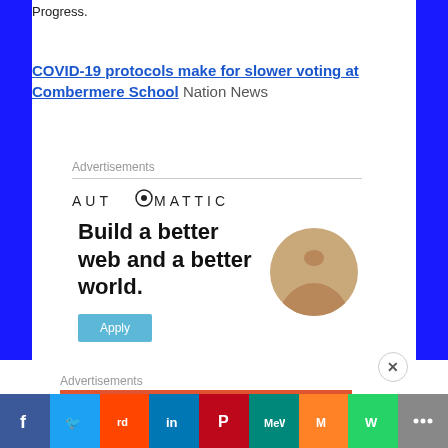Progress.
COVID-19 protocols make for slower voting at Combermere School  Nation News
Advertisements
[Figure (logo): Automattic logo with gear icon]
[Figure (infographic): Automattic ad: Build a better web and a better world. Apply button with person thinking in circle]
Advertisements
[Figure (infographic): Red banner ad: An app by listeners.]
Facebook Twitter Reddit LinkedIn Pinterest MeWe Mix WhatsApp More